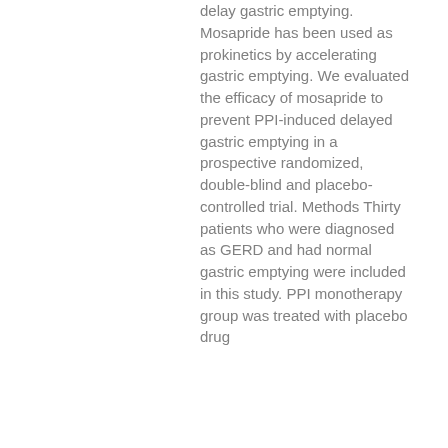delay gastric emptying. Mosapride has been used as prokinetics by accelerating gastric emptying. We evaluated the efficacy of mosapride to prevent PPI-induced delayed gastric emptying in a prospective randomized, double-blind and placebo-controlled trial. Methods Thirty patients who were diagnosed as GERD and had normal gastric emptying were included in this study. PPI monotherapy group was treated with placebo drug